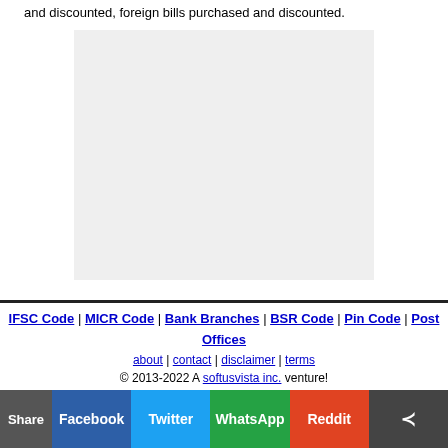and discounted, foreign bills purchased and discounted.
[Figure (other): Advertisement placeholder box (light grey rectangle)]
IFSC Code | MICR Code | Bank Branches | BSR Code | Pin Code | Post Offices
about | contact | disclaimer | terms
© 2013-2022 A softusvista inc. venture!